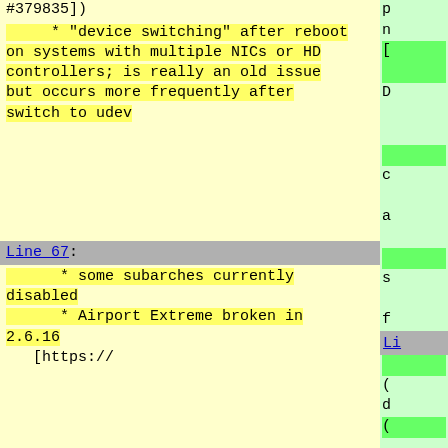#379835])
* "device switching" after reboot on systems with multiple NICs or HD controllers; is really an old issue but occurs more frequently after switch to udev
Line 67:
* some subarches currently disabled
    * Airport Extreme broken in 2.6.16